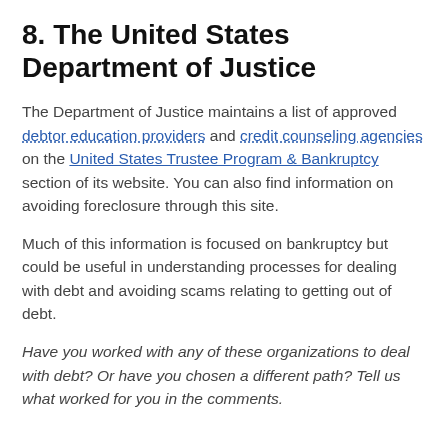8. The United States Department of Justice
The Department of Justice maintains a list of approved debtor education providers and credit counseling agencies on the United States Trustee Program & Bankruptcy section of its website. You can also find information on avoiding foreclosure through this site.
Much of this information is focused on bankruptcy but could be useful in understanding processes for dealing with debt and avoiding scams relating to getting out of debt.
Have you worked with any of these organizations to deal with debt? Or have you chosen a different path? Tell us what worked for you in the comments.